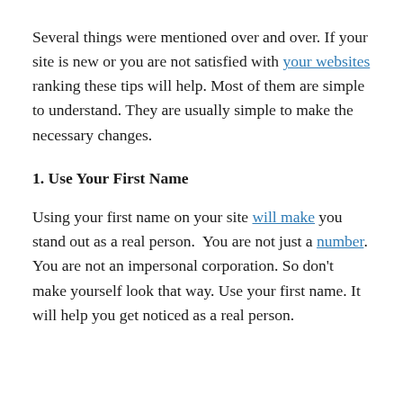Several things were mentioned over and over. If your site is new or you are not satisfied with your websites ranking these tips will help. Most of them are simple to understand. They are usually simple to make the necessary changes.
1. Use Your First Name
Using your first name on your site will make you stand out as a real person. You are not just a number. You are not an impersonal corporation. So don't make yourself look that way. Use your first name. It will help you get noticed as a real person.